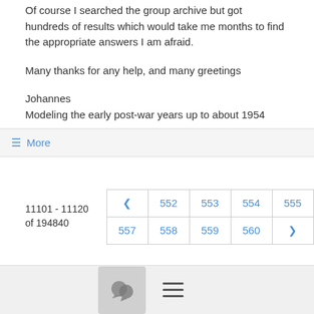Of course I searched the group archive but got hundreds of results which would take me months to find the appropriate answers I am afraid.
Many thanks for any help, and many greetings
Johannes
Modeling the early post-war years up to about 1954
☰ More
11101 - 11120 of 194840